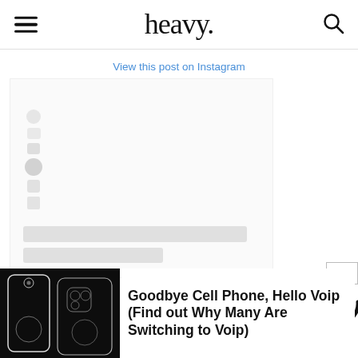heavy.
View this post on Instagram
[Figure (screenshot): Instagram embed loading placeholder with social share icons on the left and grey loading skeleton bars below]
[Figure (screenshot): Close button (X) and partial circular spinner/logo for an advertisement overlay in the bottom-right corner]
[Figure (photo): Two smartphones (iPhone-style) photographed against a black background]
Goodbye Cell Phone, Hello Voip (Find out Why Many Are Switching to Voip)